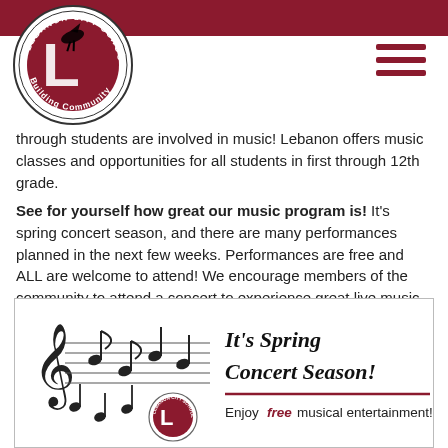[Figure (logo): Lebanon City Schools circular logo with 'L' letter and bird mascot, text 'Lebanon City Schools Building Community']
through students are involved in music! Lebanon offers music classes and opportunities for all students in first through 12th grade.
See for yourself how great our music program is! It's spring concert season, and there are many performances planned in the next few weeks. Performances are free and ALL are welcome to attend! We encourage members of the community to attend a concert to experience great live music while supporting our student performers.
[Figure (illustration): Spring Concert Season promotional poster with music staff, treble clef, musical notes, Lebanon City Schools logo, and text 'It's Spring Concert Season! Enjoy free musical entertainment!']